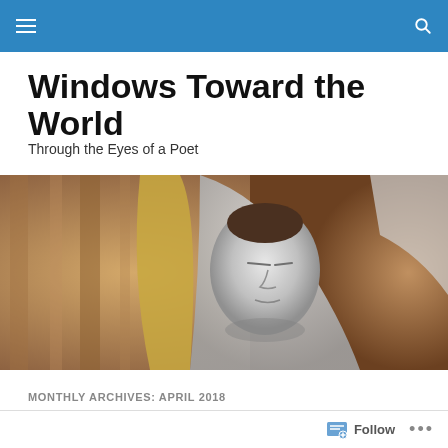Windows Toward the World — navigation bar
Windows Toward the World
Through the Eyes of a Poet
[Figure (photo): Close-up photograph of a religious statue (Virgin Mary) with golden trim on veil, grayscale face with blurred warm brown background]
MONTHLY ARCHIVES: APRIL 2018
Monday
Follow ...